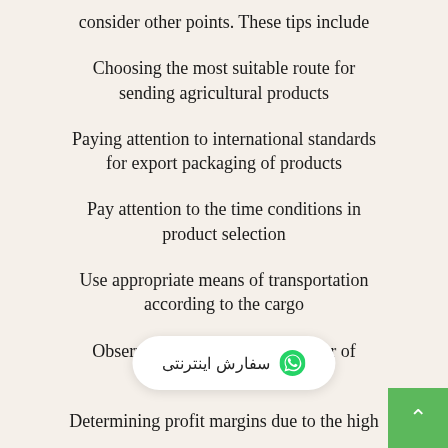consider other points. These tips include
Choosing the most suitable route for sending agricultural products
Paying attention to international standards for export packaging of products
Pay attention to the time conditions in product selection
Use appropriate means of transportation according to the cargo
Observe and analyze the behavior of competitors in
Determining profit margins due to the high